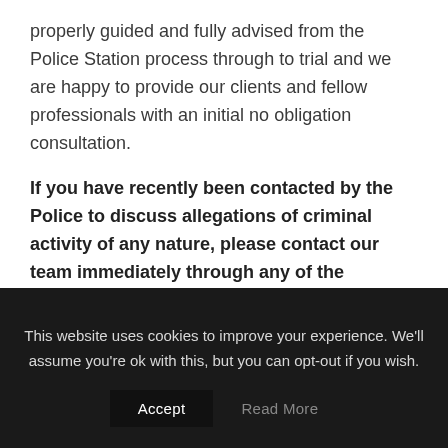properly guided and fully advised from the Police Station process through to trial and we are happy to provide our clients and fellow professionals with an initial no obligation consultation.
If you have recently been contacted by the Police to discuss allegations of criminal activity of any nature, please contact our team immediately through any of the following:
Hamrai Kang
This website uses cookies to improve your experience. We'll assume you're ok with this, but you can opt-out if you wish.